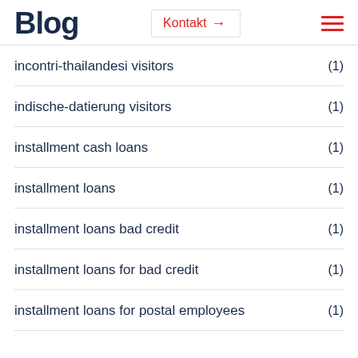Blog  Kontakt →  ☰
incontri-thailandesi visitors (1)
indische-datierung visitors (1)
installment cash loans (1)
installment loans (1)
installment loans bad credit (1)
installment loans for bad credit (1)
installment loans for postal employees (1)